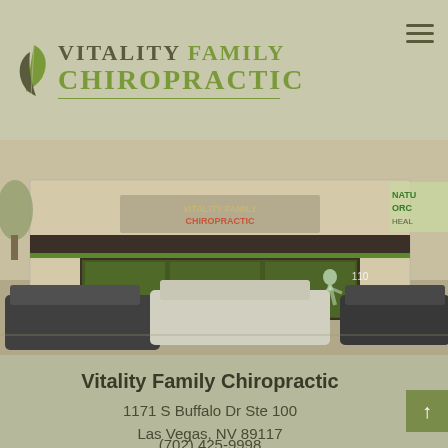[Figure (logo): Vitality Family Chiropractic logo with leaf icon and green/olive text]
[Figure (photo): Exterior photo of Vitality Family Chiropractic storefront with cars in parking lot. Sign visible on building reads Vitality Family Chiropractic. Partial view of adjacent 'Nature Organic Healing' business.]
Vitality Family Chiropractic
1171 S Buffalo Dr Ste 100
Las Vegas, NV 89117
(702) 425-9998